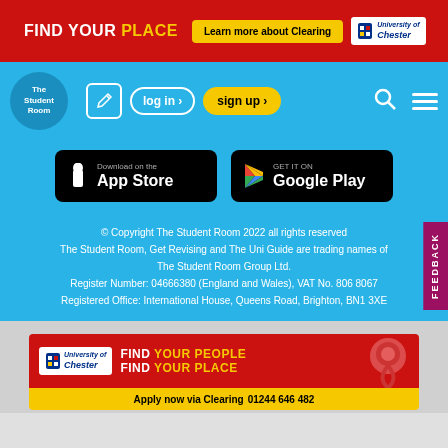[Figure (screenshot): Top ad banner: red background with FIND YOUR PLACE text and Learn more about Clearing button, University of Chester logo]
[Figure (screenshot): The Student Room navigation bar with logo, edit icon, log in, sign up, search, and hamburger menu buttons on blue background]
[Figure (screenshot): App store buttons: Download on the App Store and GET IT ON Google Play on blue background]
© Copyright The Student Room 2022 all rights reserved
The Student Room, Get Revising and The Uni Guide are trading names of The Student Room Group Ltd.
Register Number: 04666380 (England and Wales), VAT No. 806 8067
Registered Office: International House, Queens Road, Brighton, BN1 3XE
[Figure (screenshot): Bottom ad banner: University of Chester, FIND YOUR PEOPLE / FIND YOUR PLACE on red background with location pin graphic, Apply now via Clearing 01244 646 482 on yellow band]